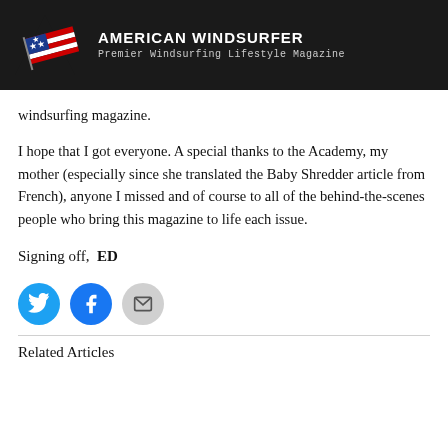AMERICAN WINDSURFER — Premier Windsurfing Lifestyle Magazine
windsurfing magazine.
I hope that I got everyone. A special thanks to the Academy, my mother (especially since she translated the Baby Shredder article from French), anyone I missed and of course to all of the behind-the-scenes people who bring this magazine to life each issue.
Signing off,  ED
[Figure (infographic): Three social sharing buttons: Twitter (blue circle with bird icon), Facebook (blue circle with f icon), Email (grey circle with envelope icon)]
Related Articles